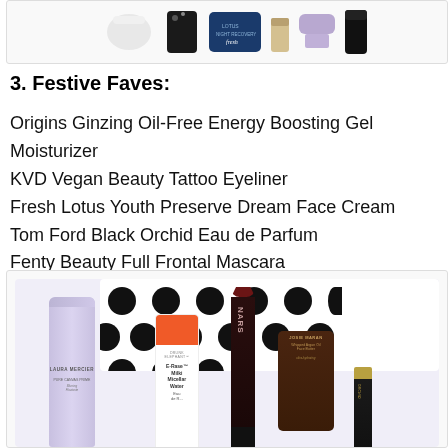[Figure (photo): Top portion of beauty product flatlay showing various skincare and makeup products including Fresh Lotus Night Recovery cream and other items against a light background]
3. Festive Faves:
Origins Ginzing Oil-Free Energy Boosting Gel Moisturizer
KVD Vegan Beauty Tattoo Eyeliner
Fresh Lotus Youth Preserve Dream Face Cream
Tom Ford Black Orchid Eau de Parfum
Fenty Beauty Full Frontal Mascara
[Figure (photo): Beauty gift set flatlay with polka dot bag, Laura Mercier primer tube, Drunk Elephant E-Rase Milki Micellar Water bottle with orange cap, NARS lip pencil, Josie Maran Whipped Argan Oil Face Butter tube, and Tom Ford Black Orchid perfume vial, arranged on light lavender background]